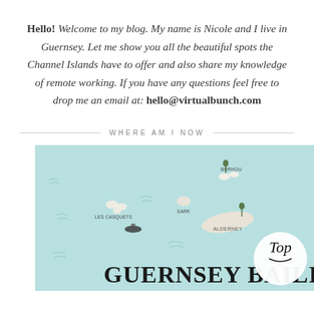Hello! Welcome to my blog. My name is Nicole and I live in Guernsey. Let me show you all the beautiful spots the Channel Islands have to offer and also share my knowledge of remote working. If you have any questions feel free to drop me an email at: hello@virtualbunch.com
WHERE AM I NOW
[Figure (map): Illustrated map of Guernsey Bailiwick showing the Channel Islands including Guernsey, Alderney, Sark, Les Casquets and other islands on a light teal/blue background. Text 'GUERNSEY BAILI...' visible at bottom. A circular badge with 'Top' in handwritten style appears in the lower right.]